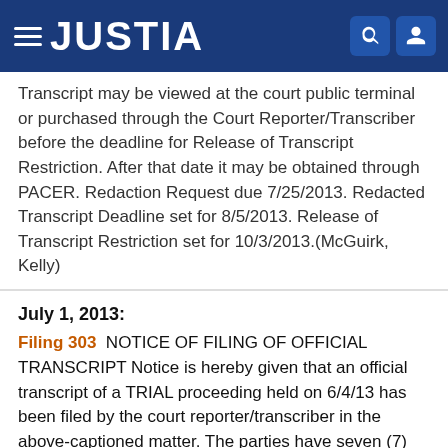JUSTIA
Transcript may be viewed at the court public terminal or purchased through the Court Reporter/Transcriber before the deadline for Release of Transcript Restriction. After that date it may be obtained through PACER. Redaction Request due 7/25/2013. Redacted Transcript Deadline set for 8/5/2013. Release of Transcript Restriction set for 10/3/2013.(McGuirk, Kelly)
July 1, 2013:
Filing 303 NOTICE OF FILING OF OFFICIAL TRANSCRIPT Notice is hereby given that an official transcript of a TRIAL proceeding held on 6/4/13 has been filed by the court reporter/transcriber in the above-captioned matter. The parties have seven (7) calendar days to file with the court a Notice of Intent to Request Redaction of this transcript. If no such Notice is filed the transcript may be released to...